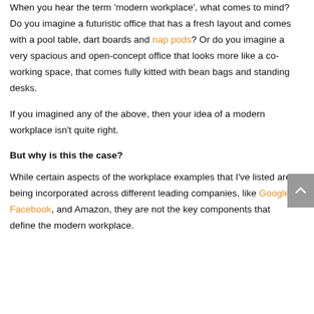When you hear the term 'modern workplace', what comes to mind? Do you imagine a futuristic office that has a fresh layout and comes with a pool table, dart boards and nap pods? Or do you imagine a very spacious and open-concept office that looks more like a co-working space, that comes fully kitted with bean bags and standing desks.
If you imagined any of the above, then your idea of a modern workplace isn't quite right.
But why is this the case?
While certain aspects of the workplace examples that I've listed are being incorporated across different leading companies, like Google, Facebook, and Amazon, they are not the key components that define the modern workplace.